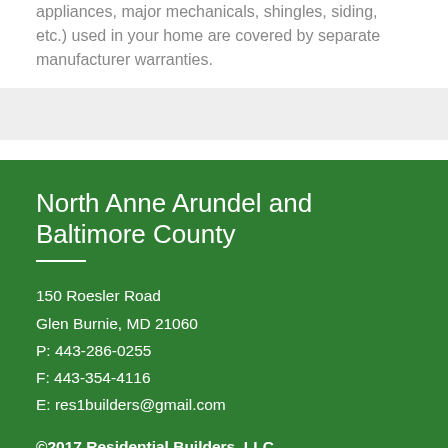appliances, major mechanicals, shingles, siding, etc.) used in your home are covered by separate manufacturer warranties.
North Anne Arundel and Baltimore County
150 Roesler Road
Glen Burnie, MD 21060
P: 443-286-0255
F: 443-354-4116
E: res1builders@gmail.com
©2017 Residential Builders, LLC
[Figure (logo): BBB Accredited Business logo with A+ rating badge]